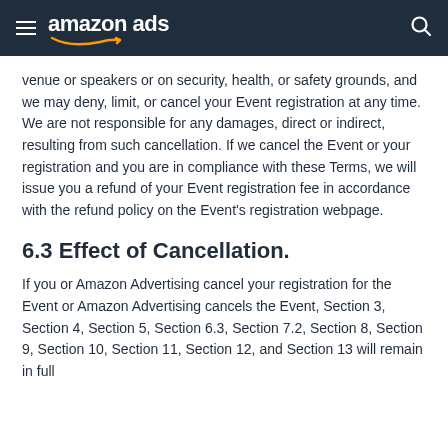amazon ads
venue or speakers or on security, health, or safety grounds, and we may deny, limit, or cancel your Event registration at any time. We are not responsible for any damages, direct or indirect, resulting from such cancellation. If we cancel the Event or your registration and you are in compliance with these Terms, we will issue you a refund of your Event registration fee in accordance with the refund policy on the Event's registration webpage.
6.3 Effect of Cancellation.
If you or Amazon Advertising cancel your registration for the Event or Amazon Advertising cancels the Event, Section 3, Section 4, Section 5, Section 6.3, Section 7.2, Section 8, Section 9, Section 10, Section 11, Section 12, and Section 13 will remain in full